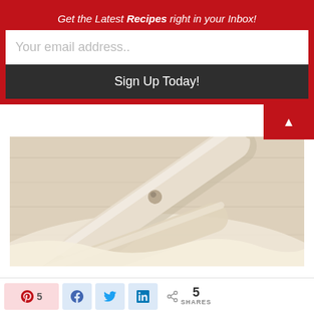Get the Latest Recipes right in your Inbox!
Your email address..
Sign Up Today!
[Figure (photo): Close-up photo of a rolling pin on a light wooden surface with parchment paper or dough rolled out beneath it]
5  SHARES